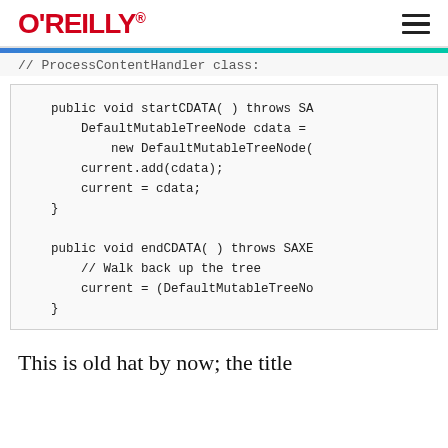O'REILLY
// ProcessContentHandler class:
[Figure (screenshot): Java code block showing startCDATA and endCDATA methods with DefaultMutableTreeNode usage]
This is old hat by now; the title